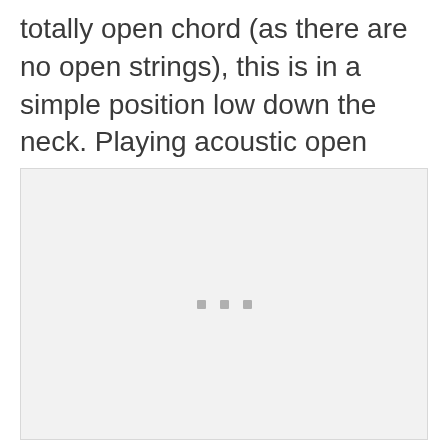totally open chord (as there are no open strings), this is in a simple position low down the neck. Playing acoustic open chords may transition well into this variation.
[Figure (illustration): A light gray rectangular placeholder box with three small gray squares centered near the bottom middle, representing a loading or placeholder image for a guitar chord diagram.]